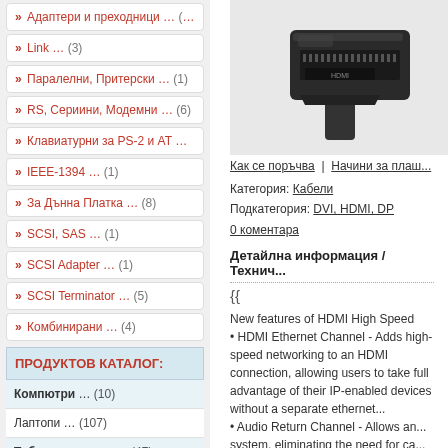» Адаптери и преходници ... (15)
» Link ... (3)
» Паралелни, Притерски ... (1)
» RS, Сериини, Модемни ... (6)
» Клавиатурни за PS-2 и AT ... (3)
» IEEE-1394 ... (1)
» За Дънна Платка ... (8)
» SCSI, SAS ... (1)
» SCSI Adapter ... (1)
» SCSI Terminator ... (5)
» Комбинирани ... (4)
ПРОДУКТОВ КАТАЛОГ:
Компютри ... (10)
Лаптопи ... (107)
Таблети, е-книги ... (47)
Смартфони ... (11)
Дънни платки ... (77)
[Figure (photo): Black HDMI connector/adapter close-up photo]
Как се поръчва | Начини за плащане
Категория: Кабели
Подкатегория: DVI, HDMI, DP
0 коментара
Детайлна информация / Технически характеристики
{{
New features of HDMI High Speed
• HDMI Ethernet Channel - Adds high-speed networking to an HDMI connection, allowing users to take full advantage of their IP-enabled devices without a separate ethernet cable
• Audio Return Channel - Allows an A/V receiver or surround sound controller that is HDMI-connected and has network access to receive audio from the TV's built-in tuner, with a need for a separate Audio cable, eliminating the need for a separate audio cable